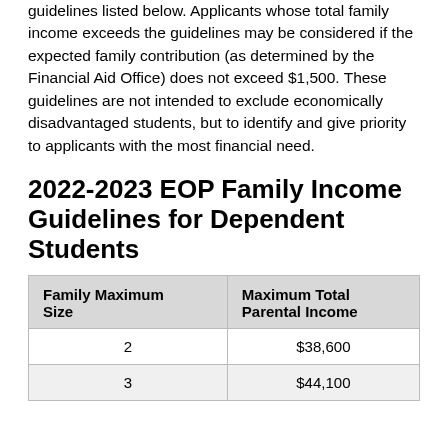guidelines listed below. Applicants whose total family income exceeds the guidelines may be considered if the expected family contribution (as determined by the Financial Aid Office) does not exceed $1,500. These guidelines are not intended to exclude economically disadvantaged students, but to identify and give priority to applicants with the most financial need.
2022-2023 EOP Family Income Guidelines for Dependent Students
| Family Maximum Size | Maximum Total Parental Income |
| --- | --- |
| 2 | $38,600 |
| 3 | $44,100 |